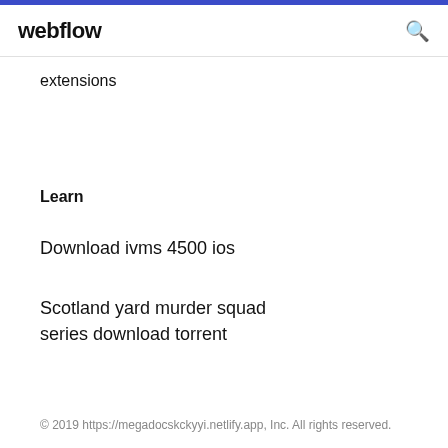webflow
extensions
Learn
Download ivms 4500 ios
Scotland yard murder squad series download torrent
© 2019 https://megadocskckyyi.netlify.app, Inc. All rights reserved.